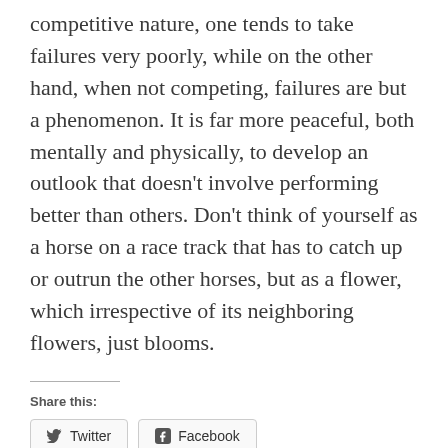competitive nature, one tends to take failures very poorly, while on the other hand, when not competing, failures are but a phenomenon. It is far more peaceful, both mentally and physically, to develop an outlook that doesn't involve performing better than others. Don't think of yourself as a horse on a race track that has to catch up or outrun the other horses, but as a flower, which irrespective of its neighboring flowers, just blooms.
Share this:
Twitter
Facebook
Loading...